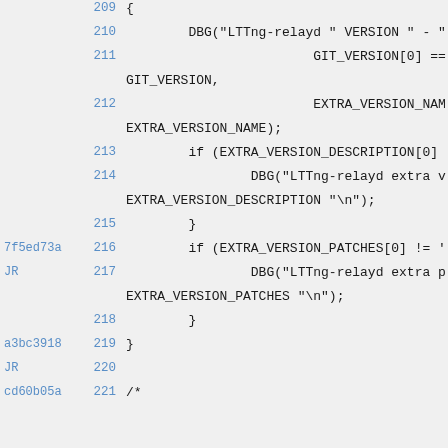Code viewer showing lines 209-221 of a C source file with git blame annotations
209  {
210      DBG("LTTng-relayd " VERSION " - "
211              GIT_VERSION[0] == GIT_VERSION,
212              EXTRA_VERSION_NAME
213      if (EXTRA_VERSION_DESCRIPTION[0]
214          DBG("LTTng-relayd extra v
EXTRA_VERSION_DESCRIPTION "\n");
215      }
7f5ed73a 216      if (EXTRA_VERSION_PATCHES[0] != '
JR
217          DBG("LTTng-relayd extra p
EXTRA_VERSION_PATCHES "\n");
218      }
a3bc3918 219  }
JR
220
cd60b05a 221  /*